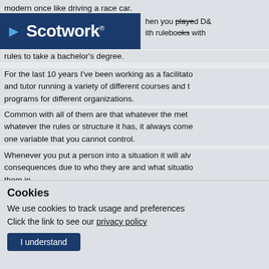modern once like driving a race car.
[Figure (logo): Scotwork logo with blue background and white text, triangular arrow on left]
when you played D& ...ith rulebooks with rules to take a bachelor's degree.
For the last 10 years I've been working as a facilitato and tutor running a variety of different courses and t programs for different organizations.
Common with all of them are that whatever the met whatever the rules or structure it has, it always come one variable that you cannot control.
Whenever you put a person into a situation it will alw consequences due to who they are and what situatio them in.
[Figure (photo): Partial photo strip at bottom of article area]
Cookies
We use cookies to track usage and preferences
Click the link to see our privacy policy
I understand